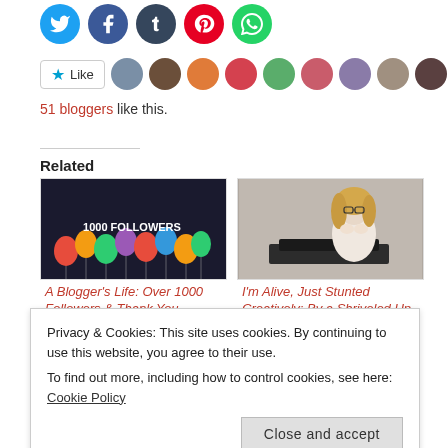[Figure (other): Row of social media share icons: Twitter (blue), Facebook (dark blue), Tumblr (navy), Pinterest (red), WhatsApp (green)]
[Figure (other): Like button with star icon followed by a row of blogger avatar thumbnails]
51 bloggers like this.
Related
[Figure (photo): Card showing '1000 FOLLOWERS' text over balloons on dark background]
A Blogger's Life: Over 1000 Followers & Thank You
[Figure (photo): Card showing a woman with glasses sitting at a typewriter]
I'm Alive, Just Stunted Creatively: By a Shriveled Up
Privacy & Cookies: This site uses cookies. By continuing to use this website, you agree to their use.
To find out more, including how to control cookies, see here: Cookie Policy
Close and accept
December 7, 2017
In "1000 Followers"